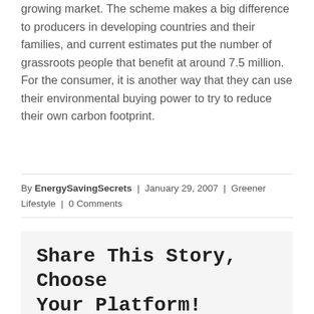growing market. The scheme makes a big difference to producers in developing countries and their families, and current estimates put the number of grassroots people that benefit at around 7.5 million. For the consumer, it is another way that they can use their environmental buying power to try to reduce their own carbon footprint.
By EnergySavingSecrets | January 29, 2007 | Greener Lifestyle | 0 Comments
Share This Story, Choose Your Platform!